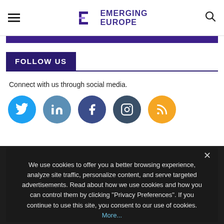EMERGING EUROPE
[Figure (illustration): Purple decorative banner bar]
FOLLOW US
Connect with us through social media.
[Figure (illustration): Social media icons: Twitter, LinkedIn, Facebook, Instagram, RSS]
We use cookies to offer you a better browsing experience, analyze site traffic, personalize content, and serve targeted advertisements. Read about how we use cookies and how you can control them by clicking "Privacy Preferences". If you continue to use this site, you consent to our use of cookies. More...